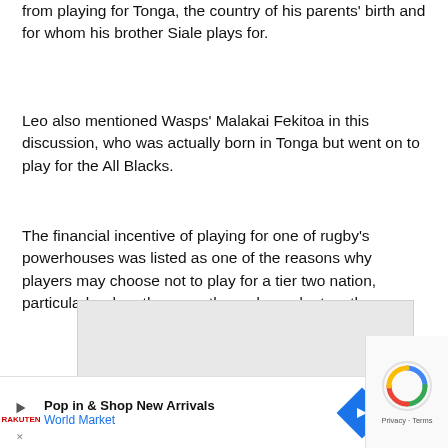from playing for Tonga, the country of his parents' birth and for whom his brother Siale plays for.
Leo also mentioned Wasps' Malakai Fekitoa in this discussion, who was actually born in Tonga but went on to play for the All Blacks.
The financial incentive of playing for one of rugby's powerhouses was listed as one of the reasons why players may choose not to play for a tier two nation, particularly when there are those dependent on them.
[Figure (other): Gray advertisement placeholder box with close button (×)]
[Figure (other): Advertisement banner: Pop in & Shop New Arrivals — World Market, with play button, logo, and navigation arrow icon. reCAPTCHA logo and Privacy/Terms text visible on right side.]